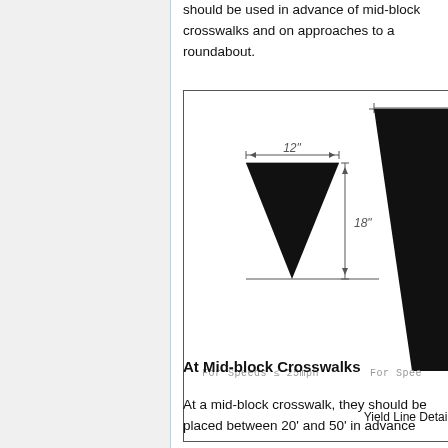should be used in advance of mid-block crosswalks and on approaches to a roundabout.
[Figure (engineering-diagram): Yield Line Detail showing two inverted black triangles (yield line markings). The left triangle is labeled 12 inches wide and 18 inches tall, for speeds ≤ 25mph. The right triangle (partially shown) is larger, for higher speeds. Dimension lines with arrows indicate width and height. Caption reads 'Yield Line Detail'.]
At Mid-block Crosswalks
At a mid-block crosswalk, they should be placed between 20' and 50' in advance...